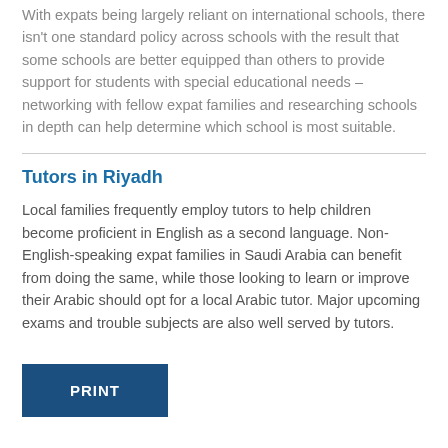With expats being largely reliant on international schools, there isn't one standard policy across schools with the result that some schools are better equipped than others to provide support for students with special educational needs – networking with fellow expat families and researching schools in depth can help determine which school is most suitable.
Tutors in Riyadh
Local families frequently employ tutors to help children become proficient in English as a second language. Non-English-speaking expat families in Saudi Arabia can benefit from doing the same, while those looking to learn or improve their Arabic should opt for a local Arabic tutor. Major upcoming exams and trouble subjects are also well served by tutors.
PRINT